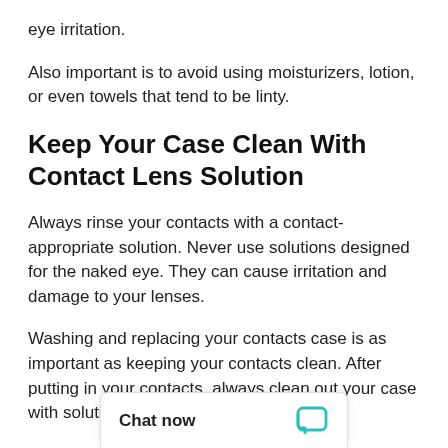eye irritation.
Also important is to avoid using moisturizers, lotion, or even towels that tend to be linty.
Keep Your Case Clean With Contact Lens Solution
Always rinse your contacts with a contact-appropriate solution. Never use solutions designed for the naked eye. They can cause irritation and damage to your lenses.
Washing and replacing your contacts case is as important as keeping your contacts clean. After putting in your contacts, always clean out your case with solution and leave it open to air dry.
If you wear makeup, re